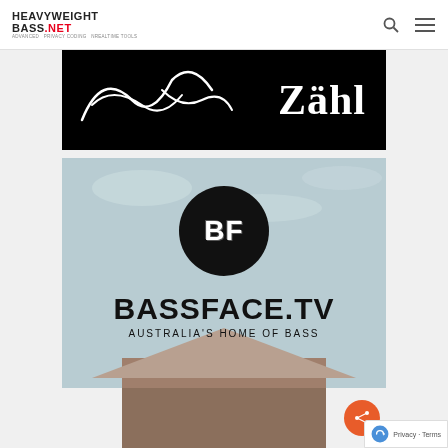HEAVYWEIGHT BASS.NET
[Figure (photo): Black background image with white cursive signature/scrawl on the left and the word 'Zähl' in white bold serif text on the right]
[Figure (logo): Bassface.TV logo — circular black badge with 'BF' letters in white on a light blue-grey sky background, with large black bold text 'BASSFACE.TV' and subtitle 'AUSTRALIA'S HOME OF BASS', with building roof at the bottom]